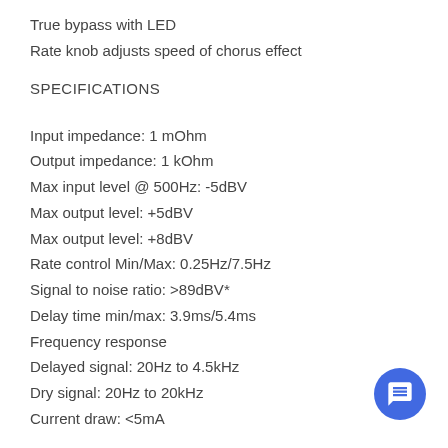True bypass with LED
Rate knob adjusts speed of chorus effect
SPECIFICATIONS
Input impedance: 1 mOhm
Output impedance: 1 kOhm
Max input level @ 500Hz: -5dBV
Max output level: +5dBV
Max output level: +8dBV
Rate control Min/Max: 0.25Hz/7.5Hz
Signal to noise ratio: >89dBV*
Delay time min/max: 3.9ms/5.4ms
Frequency response
Delayed signal: 20Hz to 4.5kHz
Dry signal: 20Hz to 20kHz
Current draw: <5mA